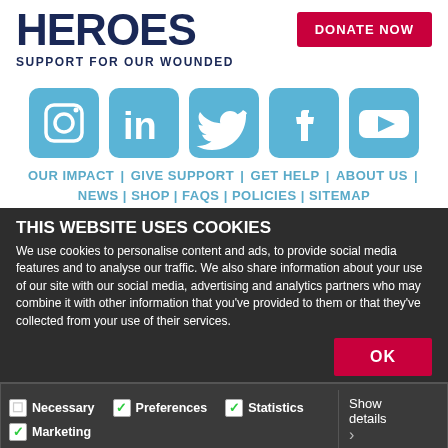HEROES
[Figure (logo): Donate button (red background, white text)]
SUPPORT FOR OUR WOUNDED
[Figure (illustration): Social media icons: Instagram, LinkedIn, Twitter, Facebook, YouTube — all in blue rounded squares]
OUR IMPACT | GIVE SUPPORT | GET HELP | ABOUT US | NEWS | SHOP | FAQS | POLICIES | SITEMAP
THIS WEBSITE USES COOKIES
We use cookies to personalise content and ads, to provide social media features and to analyse our traffic. We also share information about your use of our site with our social media, advertising and analytics partners who may combine it with other information that you've provided to them or that they've collected from your use of their services.
OK
Necessary  Preferences  Statistics  Marketing  Show details